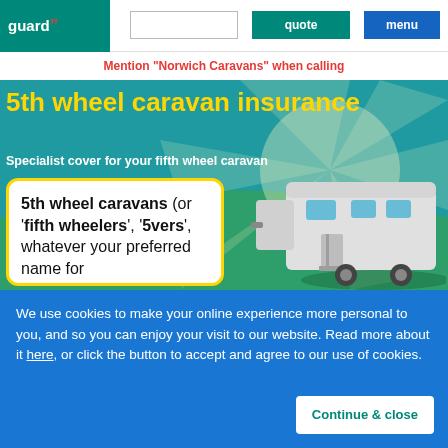guard" | [search box] | quote | menu
Mention "Norwich Caravans" when calling
5th wheel caravan insurance
Specialist cover for your fifth wheel caravan
[Figure (illustration): Illustration of a large white 5th wheel caravan/trailer with blue windows, parked on green grass with a blue sky and sun rays in background]
5th wheel caravans (or 'fifth wheelers', '5vers', whatever your preferred name for
We use cookies to make your online experience more personal to you, and so you can enjoy your visit to our website. Read more about it here, or click the button to accept and agree to our use of cookies.